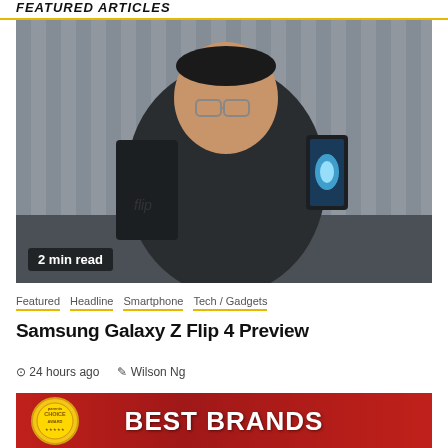FEATURED ARTICLES
[Figure (photo): A man holding two Samsung Galaxy Z Flip 4 phones, one box closed and one open showing a glowing blue wallpaper. Badge overlay reads '2 min read'.]
Featured   Headline   Smartphone   Tech / Gadgets
Samsung Galaxy Z Flip 4 Preview
24 hours ago   Wilson Ng
[Figure (photo): Bottom partial image showing a red background with 'BEST BRANDS' text and a Parents Choice Award medallion.]